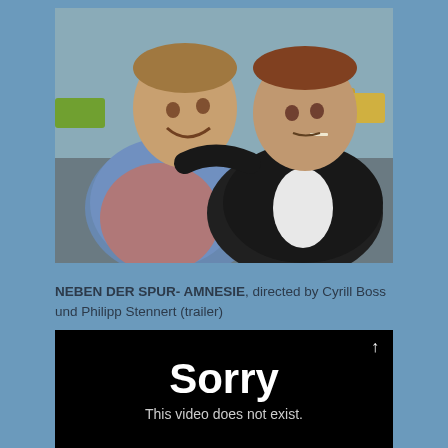[Figure (photo): Two men posing together outdoors. The man on the left is wearing a denim vest over a plaid shirt and is smiling. The man on the right is wearing a black hooded jacket over a white shirt. Street and parked cars visible in background.]
NEBEN DER SPUR- AMNESIE, directed by Cyrill Boss und Philipp Stennert (trailer)
[Figure (screenshot): Black video player screen showing 'Sorry' in large white bold text and 'This video does not exist.' in smaller white text below, with an upward arrow icon in the top right.]